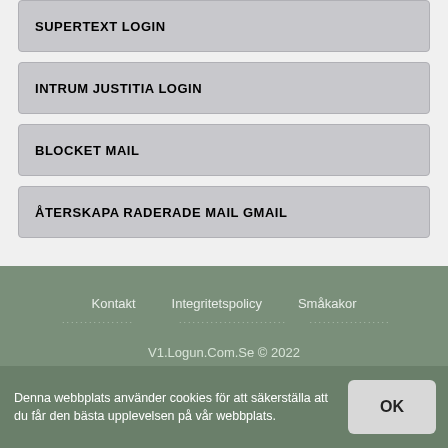SUPERTEXT LOGIN
INTRUM JUSTITIA LOGIN
BLOCKET MAIL
ÅTERSKAPA RADERADE MAIL GMAIL
Kontakt   Integritetspolicy   Småkakor
V1.Logun.Com.Se © 2022
Denna webbplats använder cookies för att säkerställa att du får den bästa upplevelsen på vår webbplats.